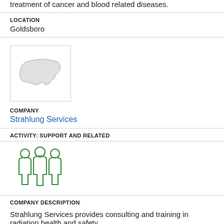treatment of cancer and blood related diseases.
LOCATION
Goldsboro
[Figure (map): Small map thumbnail showing North Carolina state outline]
COMPANY
Strahlung Services
ACTIVITY: SUPPORT AND RELATED
[Figure (illustration): Green icon of three people/team members side by side]
COMPANY DESCRIPTION
Strahlung Services provides consulting and training in radiation health and safety.